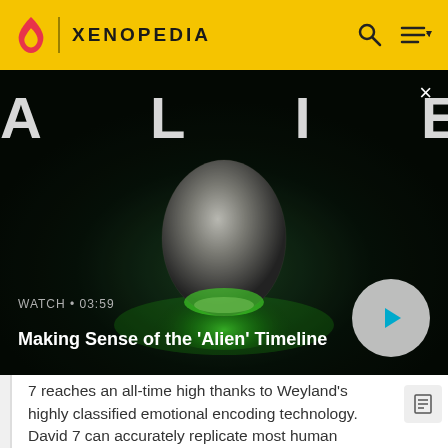XENOPEDIA
[Figure (screenshot): Alien movie promotional video thumbnail with egg and green glow on dark background, titled ALIEN with superscript x]
WATCH • 03:59
Making Sense of the 'Alien' Timeline
7 reaches an all-time high thanks to Weyland's highly classified emotional encoding technology. David 7 can accurately replicate most human emotions down to the